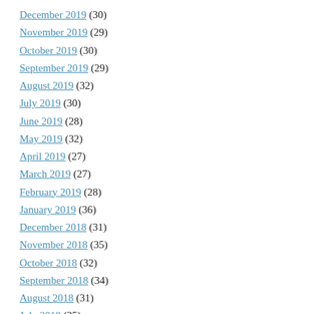December 2019 (30)
November 2019 (29)
October 2019 (30)
September 2019 (29)
August 2019 (32)
July 2019 (30)
June 2019 (28)
May 2019 (32)
April 2019 (27)
March 2019 (27)
February 2019 (28)
January 2019 (36)
December 2018 (31)
November 2018 (35)
October 2018 (32)
September 2018 (34)
August 2018 (31)
July 2018 (35)